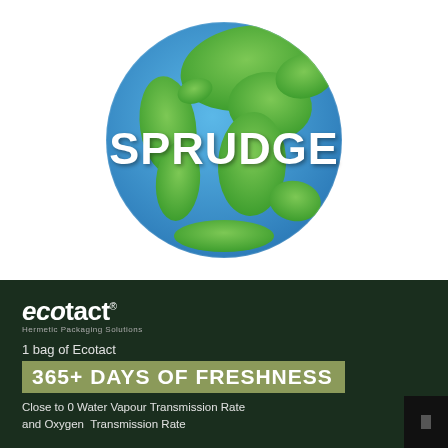[Figure (logo): Globe illustration with blue ocean and green landmasses, with 'SPRUDGE' written in large bold white text across the center of the globe]
[Figure (logo): Ecotact logo — 'ecotact' in bold white italic/regular mixed font with registered trademark symbol, subtitle 'Hermetic Packaging Solutions' in small grey text]
1 bag of Ecotact
365+ DAYS OF FRESHNESS
Close to 0 Water Vapour Transmission Rate and Oxygen Transmission Rate